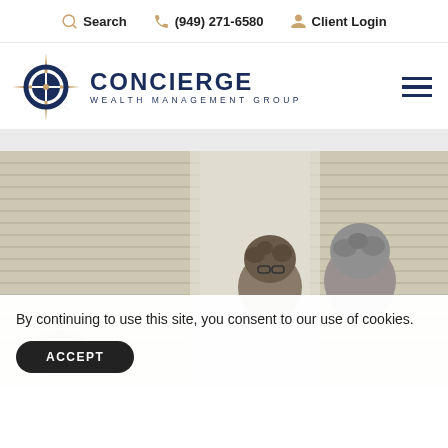Search | (949) 271-6580 | Client Login
[Figure (logo): Concierge Wealth Management Group compass logo with dark navy circle and gold star compass design]
CONCIERGE WEALTH MANAGEMENT GROUP
[Figure (photo): Older couple with grey hair looking down at a laptop or document together, seated near window with white blinds and natural light]
By continuing to use this site, you consent to our use of cookies.
ACCEPT